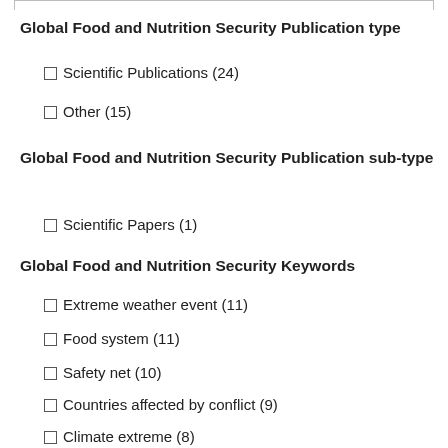Global Food and Nutrition Security Publication type
Scientific Publications (24)
Other (15)
Global Food and Nutrition Security Publication sub-type
Scientific Papers (1)
Global Food and Nutrition Security Keywords
Extreme weather event (11)
Food system (11)
Safety net (10)
Countries affected by conflict (9)
Climate extreme (8)
Famine (8)
Food and nutrition security (8)
Show more